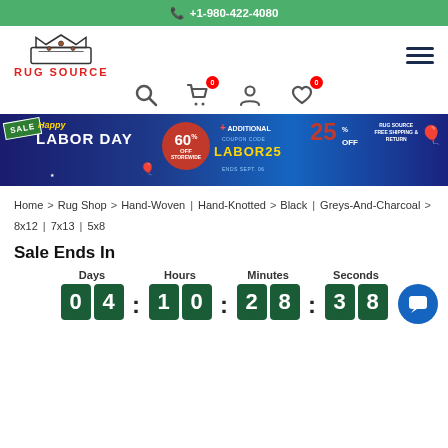+1-980-422-4080
[Figure (logo): Rug Source logo with crown graphic and red text]
[Figure (infographic): Labor Day Sale banner: 60% off storewide, additional 25% off with coupon code LABOR25, ends Sept. 06, free shipping and return]
Home > Rug Shop > Hand-Woven | Hand-Knotted > Black | Greys-And-Charcoal > 8x12 | 7x13 | 5x8
Sale Ends In
Days 04 : Hours 10 : Minutes 28 : Seconds 38